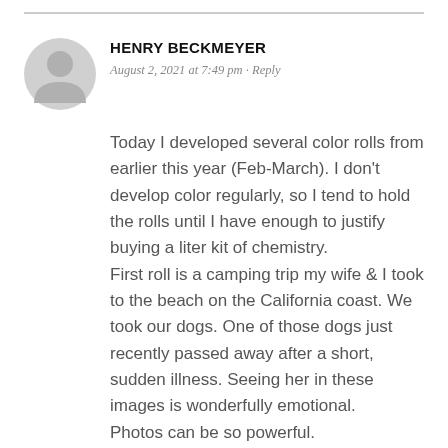[Figure (illustration): Generic user avatar: gray circle with a person silhouette (head circle and shoulders arc)]
HENRY BECKMEYER
August 2, 2021 at 7:49 pm · Reply
Today I developed several color rolls from earlier this year (Feb-March). I don't develop color regularly, so I tend to hold the rolls until I have enough to justify buying a liter kit of chemistry.
First roll is a camping trip my wife & I took to the beach on the California coast. We took our dogs. One of those dogs just recently passed away after a short, sudden illness. Seeing her in these images is wonderfully emotional.
Photos can be so powerful.